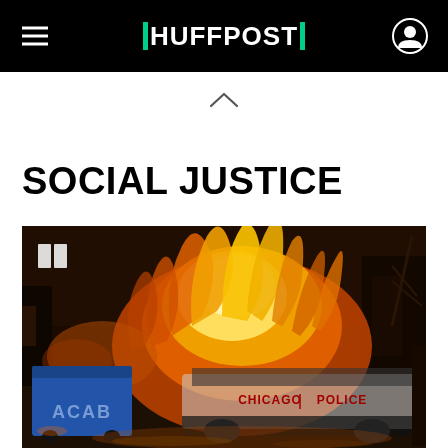HUFFPOST
SOCIAL JUSTICE
[Figure (photo): A burning Chicago Police vehicle engulfed in large orange flames, with a blue dumpster bearing graffiti reading 'ACAB' in the foreground. The police markings 'CHICAGO POLICE' are visible on the burning vehicle.]